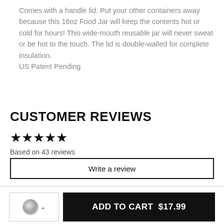Comes with a handle lid. Put your other containers away because this 16oz Food Jar will keep the contents hot or cold for hours! This wide-mouth reusable jar will never sweat or be hot to the touch. The lid is double-walled for complete insulation.
US Patent Pending
CUSTOMER REVIEWS
★★★★★
Based on 43 reviews
Write a review
ADD TO CART  $17.99